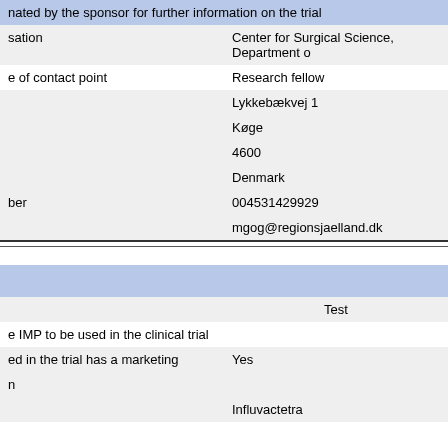| nated by the sponsor for further information on the trial |  |
| sation | Center for Surgical Science, Department o |
| e of contact point | Research fellow |
|  | Lykkebækvej 1 |
|  | Køge |
|  | 4600 |
|  | Denmark |
| ber | 004531429929 |
|  | mgog@regionsjaelland.dk |
|  |  |
|  | Test |
| e IMP to be used in the clinical trial |  |
| ed in the trial has a marketing | Yes |
| n |  |
|  | Influvactetra |